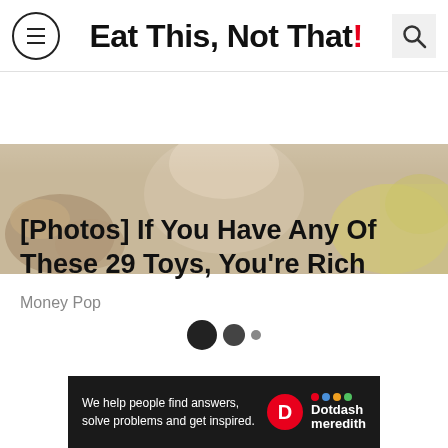Eat This, Not That!
[Figure (photo): Cropped photo showing a child with nuts and bananas in background]
[Photos] If You Have Any Of These 29 Toys, You're Rich
Money Pop
[Figure (other): Loading indicator with three dots of decreasing size]
[Figure (other): Dotdash Meredith footer advertisement: We help people find answers, solve problems and get inspired.]